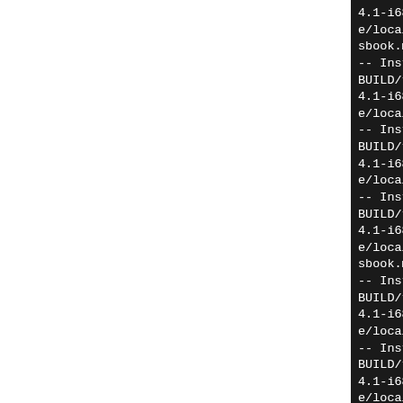4.1-i686-root-builder/usr/share/locale/he/LC_MESSAGES/kaddressbook.mo
-- Installing: /tmp/B.rhn5BUILD/tmp/ka5-kaddressbook-4.1-i686-root-builder/usr/share/locale/hr
-- Installing: /tmp/B.rhn5BUILD/tmp/ka5-kaddressbook-4.1-i686-root-builder/usr/share/locale/hr/LC_MESSAGES
-- Installing: /tmp/B.rhn5BUILD/tmp/ka5-kaddressbook-4.1-i686-root-builder/usr/share/locale/hr/LC_MESSAGES/kaddressbook.mo
-- Installing: /tmp/B.rhn5BUILD/tmp/ka5-kaddressbook-4.1-i686-root-builder/usr/share/locale/hu
-- Installing: /tmp/B.rhn5BUILD/tmp/ka5-kaddressbook-4.1-i686-root-builder/usr/share/locale/hu/LC_MESSAGES